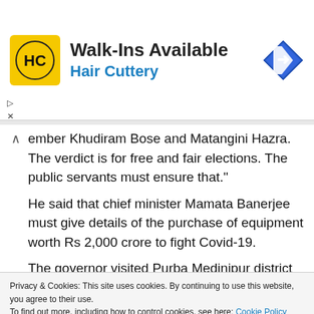[Figure (logo): Hair Cuttery advertisement banner with HC logo on yellow background, 'Walk-Ins Available' headline, 'Hair Cuttery' subtitle in blue, and a blue direction sign icon on the right]
ember Khudiram Bose and Matangini Hazra. The verdict is for free and fair elections. The public servants must ensure that."
He said that chief minister Mamata Banerjee must give details of the purchase of equipment worth Rs 2,000 crore to fight Covid-19.
The governor visited Purba Medinipur district headquarters Tamluk and paid floral tributes to a statue of Matangini Hazra. He also paid respects to Khudiram Bose and other revolutionaries.
Privacy & Cookies: This site uses cookies. By continuing to use this website, you agree to their use.
To find out more, including how to control cookies, see here: Cookie Policy